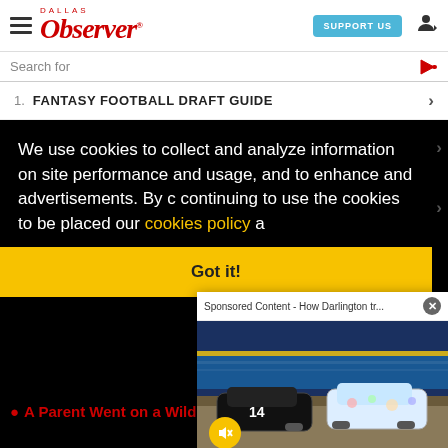Dallas Observer – SUPPORT US
Search for
1.  FANTASY FOOTBALL DRAFT GUIDE
We use cookies to collect and analyze information on site performance and usage, and to enhance and customize content and advertisements. By continuing to use the site, you agree to allow cookies to be placed. To find out more, visit our cookies policy a…
Got it!
[Figure (screenshot): Sponsored Content popup showing NASCAR racing cars with title 'Sponsored Content - How Darlington tr...' and a mute button, with close X button]
DFW
A Parent Went on a Wild Rant While Speaking Before